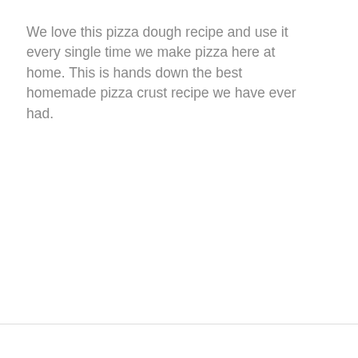We love this pizza dough recipe and use it every single time we make pizza here at home. This is hands down the best homemade pizza crust recipe we have ever had.